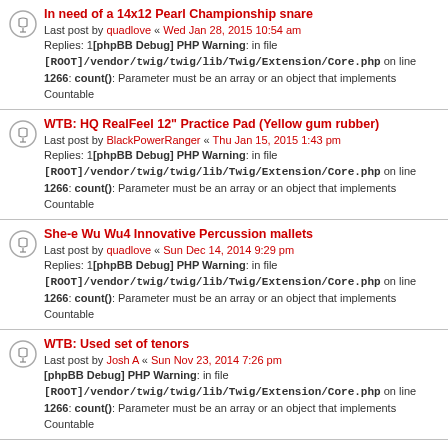In need of a 14x12 Pearl Championship snare
Last post by quadlove « Wed Jan 28, 2015 10:54 am
Replies: 1[phpBB Debug] PHP Warning: in file [ROOT]/vendor/twig/twig/lib/Twig/Extension/Core.php on line 1266: count(): Parameter must be an array or an object that implements Countable
WTB: HQ RealFeel 12" Practice Pad (Yellow gum rubber)
Last post by BlackPowerRanger « Thu Jan 15, 2015 1:43 pm
Replies: 1[phpBB Debug] PHP Warning: in file [ROOT]/vendor/twig/twig/lib/Twig/Extension/Core.php on line 1266: count(): Parameter must be an array or an object that implements Countable
She-e Wu Wu4 Innovative Percussion mallets
Last post by quadlove « Sun Dec 14, 2014 9:29 pm
Replies: 1[phpBB Debug] PHP Warning: in file [ROOT]/vendor/twig/twig/lib/Twig/Extension/Core.php on line 1266: count(): Parameter must be an array or an object that implements Countable
WTB: Used set of tenors
Last post by Josh A « Sun Nov 23, 2014 7:26 pm
[phpBB Debug] PHP Warning: in file [ROOT]/vendor/twig/twig/lib/Twig/Extension/Core.php on line 1266: count(): Parameter must be an array or an object that implements Countable
Vic firth quadro pad,
Last post by Calebc96 « Tue Nov 18, 2014 11:42 am
Replies: 10[phpBB Debug] PHP Warning: in file [ROOT]/vendor/twig/twig/lib/Twig/Extension/Core.php on line 1266: count(): Parameter must be an array or an object that implements Countable
Wanted: Mapex Quantum Marching Snare w/ black hardware
Last post by olddrummer « Mon Nov 03, 2014 3:05 pm
[phpBB Debug] PHP Warning: in file